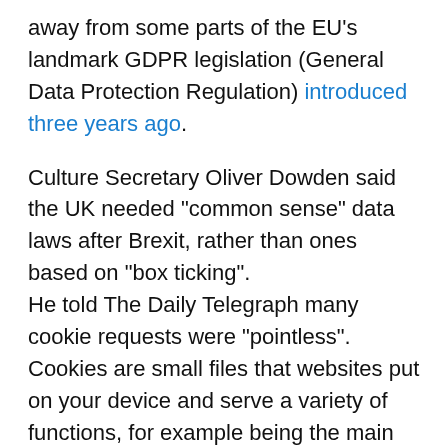away from some parts of the EU's landmark GDPR legislation (General Data Protection Regulation) introduced three years ago.
Culture Secretary Oliver Dowden said the UK needed "common sense" data laws after Brexit, rather than ones based on "box ticking". He told The Daily Telegraph many cookie requests were "pointless". Cookies are small files that websites put on your device and serve a variety of functions, for example being the main way companies can serve up targeted adverts based on what other sites you have used.
The pop-up banners asking users